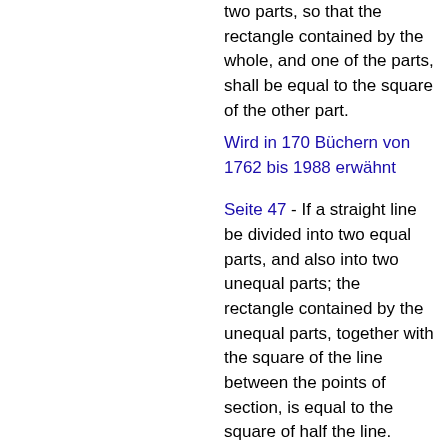two parts, so that the rectangle contained by the whole, and one of the parts, shall be equal to the square of the other part.
Wird in 170 Büchern von 1762 bis 1988 erwähnt
Seite 47 - If a straight line be divided into two equal parts, and also into two unequal parts; the rectangle contained by the unequal parts, together with the square of the line between the points of section, is equal to the square of half the line.
Wird in 148 Büchern von 1762 bis 1994 erwähnt